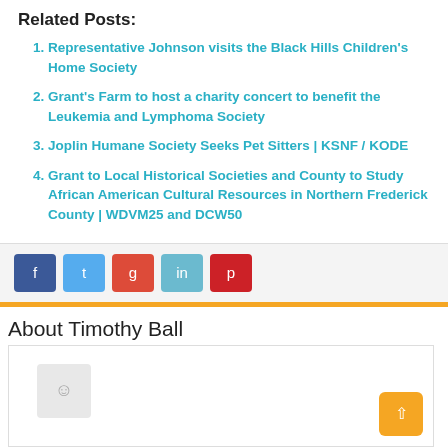Related Posts:
Representative Johnson visits the Black Hills Children's Home Society
Grant's Farm to host a charity concert to benefit the Leukemia and Lymphoma Society
Joplin Humane Society Seeks Pet Sitters | KSNF / KODE
Grant to Local Historical Societies and County to Study African American Cultural Resources in Northern Frederick County | WDVM25 and DCW50
[Figure (other): Social media share buttons: Facebook, Twitter, Google+, LinkedIn, Pinterest]
About Timothy Ball
[Figure (other): Author avatar placeholder icon inside a white box]